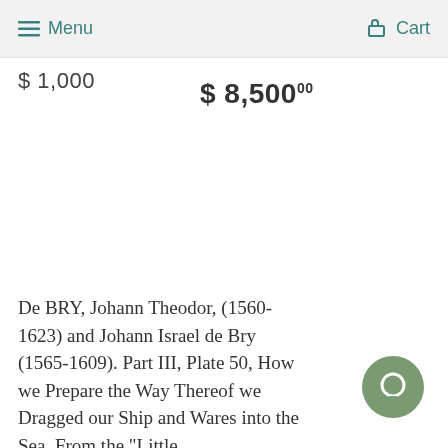Menu  Cart
$ 1,000
$ 8,500°00
De BRY, Johann Theodor, (1560-1623) and Johann Israel de Bry (1565-1609). Part III, Plate 50, How we Prepare the Way Thereof we Dragged our Ship and Wares into the Sea. From the "Little